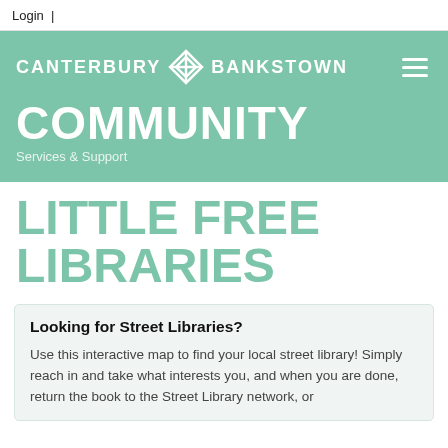Login  |
[Figure (logo): Canterbury Bankstown Council logo with geometric diamond emblem and hamburger menu icon on green background, with COMMUNITY Services & Support text below]
LITTLE FREE LIBRARIES
Looking for Street Libraries?
Use this interactive map to find your local street library! Simply reach in and take what interests you, and when you are done, return the book to the Street Library network, or